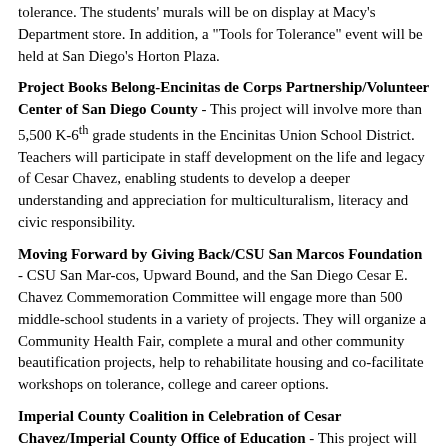tolerance. The students' murals will be on display at Macy's Department store. In addition, a "Tools for Tolerance" event will be held at San Diego's Horton Plaza.
Project Books Belong-Encinitas de Corps Partnership/Volunteer Center of San Diego County - This project will involve more than 5,500 K-6th grade students in the Encinitas Union School District. Teachers will participate in staff development on the life and legacy of Cesar Chavez, enabling students to develop a deeper understanding and appreciation for multiculturalism, literacy and civic responsibility.
Moving Forward by Giving Back/CSU San Marcos Foundation - CSU San Mar-cos, Upward Bound, and the San Diego Cesar E. Chavez Commemoration Committee will engage more than 500 middle-school students in a variety of projects. They will organize a Community Health Fair, complete a mural and other community beautification projects, help to rehabilitate housing and co-facilitate workshops on tolerance, college and career options.
Imperial County Coalition in Celebration of Cesar Chavez/Imperial County Office of Education - This project will engage 200 high school students in environment, community improvement and human service projects such as tree planting, graffiti clean-up and food and clothing drives. A Community Awareness Celebration of Cesar Chavez will occur on April 1...